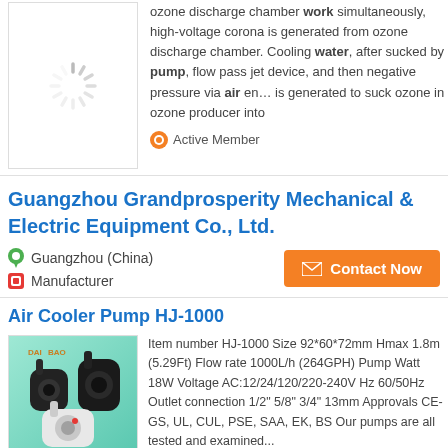[Figure (photo): Loading spinner icon (gray radial lines)]
ozone discharge chamber work simultaneously, high-voltage corona is generated from ozone discharge chamber. Cooling water, after sucked by pump, flow pass jet device, and then negative pressure via air en... is generated to suck ozone in ozone producer into
🔶 Active Member
Guangzhou Grandprosperity Mechanical & Electric Equipment Co., Ltd.
📍 Guangzhou (China)
🔶 Manufacturer
✉ Contact Now
Air Cooler Pump HJ-1000
[Figure (photo): Product image of Air Cooler Pump HJ-1000 - two black water pumps and one white/black pump on teal-green gradient background with DAI BAO logo]
Item number HJ-1000 Size 92*60*72mm Hmax 1.8m (5.29Ft) Flow rate 1000L/h (264GPH) Pump Watt 18W Voltage AC:12/24/120/220-240V Hz 60/50Hz Outlet connection 1/2" 5/8" 3/4" 13mm Approvals CE-GS, UL, CUL, PSE, SAA, EK, BS Our pumps are all tested and examined...
🔶 Active Member